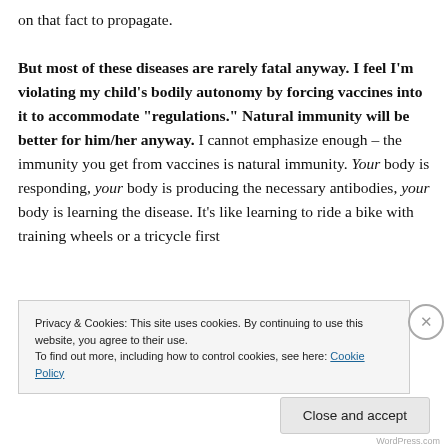on that fact to propagate.  But most of these diseases are rarely fatal anyway.  I feel I'm violating my child's bodily autonomy by forcing vaccines into it to accommodate "regulations."  Natural immunity will be better for him/her anyway.  I cannot emphasize enough – the immunity you get from vaccines is natural immunity.  Your body is responding, your body is producing the necessary antibodies, your body is learning the disease.  It's like learning to ride a bike with training wheels or a tricycle first
Privacy & Cookies: This site uses cookies. By continuing to use this website, you agree to their use.
To find out more, including how to control cookies, see here: Cookie Policy
Close and accept